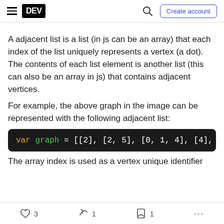DEV | Create account
A adjacent list is a list (in js can be an array) that each index of the list uniquely represents a vertex (a dot).
The contents of each list element is another list (this can also be an array in js) that contains adjacent vertices.
For example, the above graph in the image can be represented with the following adjacent list:
[Figure (screenshot): Code block showing: var graph = [[2], [2, 5], [0, 1, 4], [4], [3, 5 (truncated)]
The array index is used as a vertex unique identifier
3  1  1  ...